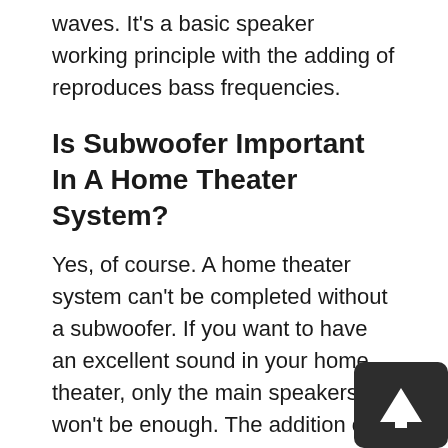waves. It's a basic speaker working principle with the adding of reproduces bass frequencies.
Is Subwoofer Important In A Home Theater System?
Yes, of course. A home theater system can't be completed without a subwoofer. If you want to have an excellent sound in your home theater, only the main speakers won't be enough. The addition of subwoofers can enhance the sound of the home theater environment to a great length.
4.Wired Vs. Wireless Subwoofers Which One Is Good For The Car?